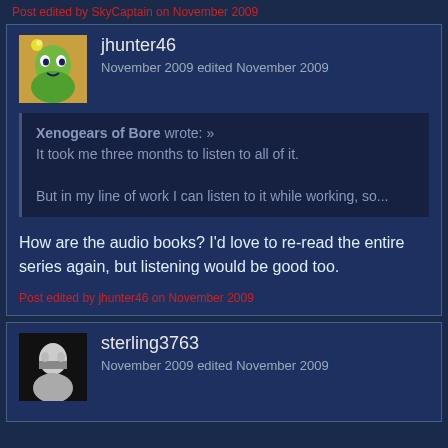Post edited by SkyCaptain on November 2009
jhunter46
November 2009 edited November 2009
Xenogears of Bore wrote: »
It took me three months to listen to all of it.

But in my line of work I can listen to it while working, so...
How are the audio books? I'd love to re-read the entire series again, but listening would be good too.
Post edited by jhunter46 on November 2009
sterling3763
November 2009 edited November 2009